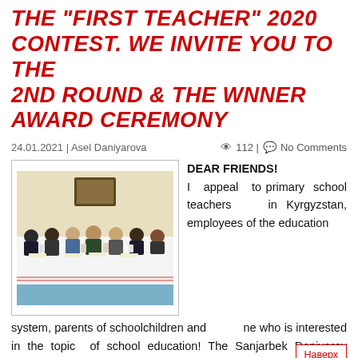THE "FIRST TEACHER" 2020 CONTEST. WE INVITE YOU TO THE 2ND ROUND & THE WNNER AWARD CEREMONY
24.01.2021 | Asel Daniyarova   👁 112 | 💬 No Comments
[Figure (photo): Photo of a group of people (teachers/panelists) seated at a long table covered with a white cloth with decorative trim, in a conference room setting.]
DEAR FRIENDS! I appeal to primary school teachers in Kyrgyzstan, employees of the education system, parents of schoolchildren and everyone who is interested in the topic of school education! The Sanjarbek Daniyarov Foundation invites you to the event: ROUND 2 OF THE 9th